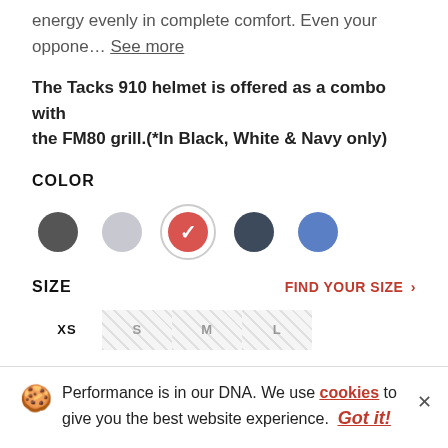energy evenly in complete comfort. Even your oppone... See more
The Tacks 910 helmet is offered as a combo with the FM80 grill.(*In Black, White & Navy only)
COLOR
[Figure (other): Five color swatches: dark gray, light gray, red (selected with checkmark), dark navy, blue]
SIZE
FIND YOUR SIZE >
[Figure (other): Size selector buttons: XS (active/white), S (crosshatch/unavailable), M (crosshatch/unavailable), L (crosshatch/unavailable)]
Performance is in our DNA. We use cookies to give you the best website experience. Got it!